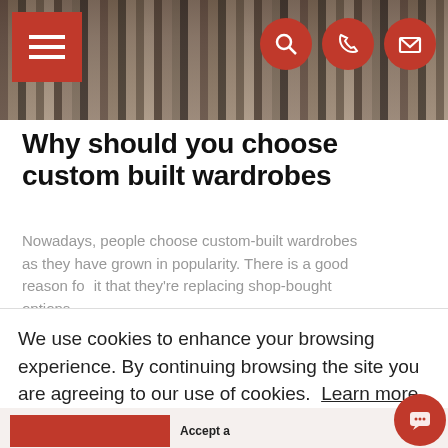[Figure (photo): Header photo of hanging clothes/garments on a rack, with a red hamburger menu icon top-left and three red circular icons (search, phone, email) top-right]
Why should you choose custom built wardrobes
Nowadays, people choose custom-built wardrobes as they have grown in popularity. There is a good reason for it that they're replacing shop-bought options.
We use cookies to enhance your browsing experience. By continuing browsing the site you are agreeing to our use of cookies.  Learn more
Accept a×
Your browser settings do not allow cross-site tracking for advertising. Click on this AdRoll to use cross-site tracking to tailor ads to you. Learn more or opt out of this Ad by clicking here. This message only appears once.